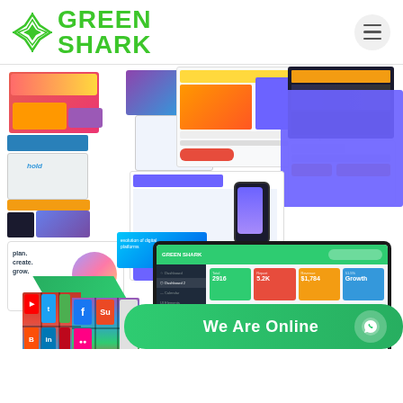[Figure (logo): Green Shark logo with green shark icon and bold green text reading GREEN SHARK in two lines]
[Figure (illustration): Collage of website design screenshots, a social media Rubik's cube with icons (Facebook, YouTube, Flickr, StumbleUpon, etc.), and a tablet showing a Green Shark dashboard with colorful analytics charts]
We Are Online